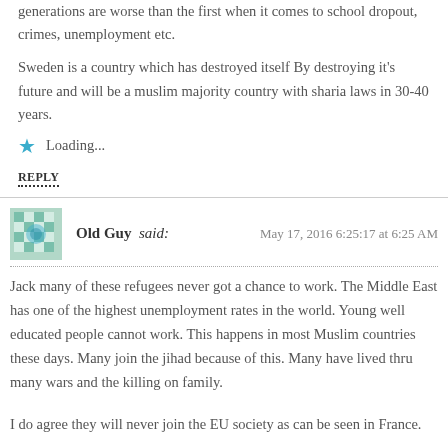generations are worse than the first when it comes to school dropout, crimes, unemployment etc.
Sweden is a country which has destroyed itself By destroying it’s future and will be a muslim majority country with sharia laws in 30-40 years.
★ Loading...
REPLY
Old Guy said: May 17, 2016 6:25:17 at 6:25 AM
Jack many of these refugees never got a chance to work. The Middle East has one of the highest unemployment rates in the world. Young well educated people cannot work. This happens in most Muslim countries these days. Many join the jihad because of this. Many have lived thru many wars and the killing on family.
I do agree they will never join the EU society as can be seen in France.